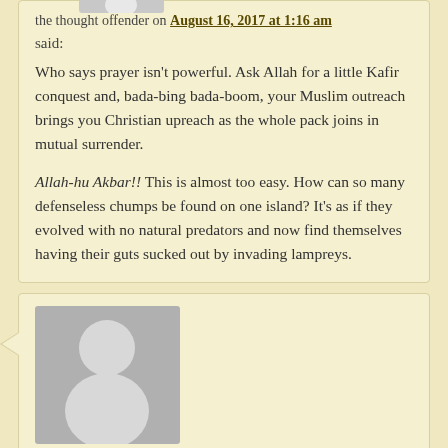[Figure (illustration): Small grey avatar/profile placeholder icon at top]
the thought offender on August 16, 2017 at 1:16 am
said:
Who says prayer isn't powerful. Ask Allah for a little Kafir conquest and, bada-bing bada-boom, your Muslim outreach brings you Christian upreach as the whole pack joins in mutual surrender.
Allah-hu Akbar!! This is almost too easy. How can so many defenseless chumps be found on one island? It's as if they evolved with no natural predators and now find themselves having their guts sucked out by invading lampreys.
[Figure (illustration): Large grey avatar/profile placeholder icon]
Outlaw Mike on August 16, 2017 at 3:16 am said:
APPALLING!!!! My God, is there among those Britons NOBODY who will stand up????? I can't